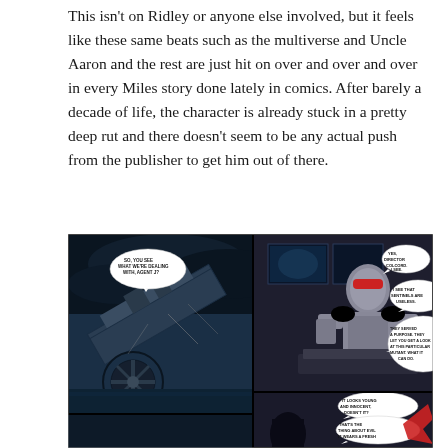This isn't on Ridley or anyone else involved, but it feels like these same beats such as the multiverse and Uncle Aaron and the rest are just hit on over and over and over in every Miles story done lately in comics. After barely a decade of life, the character is already stuck in a pretty deep rut and there doesn't seem to be any actual push from the publisher to get him out of there.
[Figure (illustration): Two comic book panels side by side. Left panel shows a destroyed aircraft carrier or helicarrier crashing with debris and smoke. Right panel shows an armored robotic/cyborg figure (Sentinel or similar) at a control panel with speech bubbles: 'SO, YOU SEE WHAT WE'RE DEALING WITH, AGENT J?' and 'YES, DIRECTOR COLCORD. I SEE.' and 'I SEE THAT SENTINELS ARE USELESS.' and 'THEY SERVED A PURPOSE. THEY LET YOU GET A LOOK AT THIS PARTICULAR MUTANT. WHAT IT CAN DO.' A third partial panel at bottom right shows speech bubbles: 'IT LOOKS YOUNG AND INNOCENT, DOESN'T IT?' and 'THAT'S THE THING ABOUT EVIL IT WEARS A FRESH']